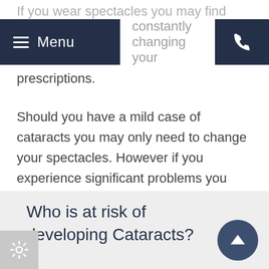If you wear spectacles you may find constantly changing your
prescriptions.
Should you have a mild case of cataracts you may only need to change your spectacles. However if you experience significant problems you may be referred for cataract surgery. This involves removing the cloudy lens and replacing it with a clear one.
Who is at risk of developing Cataracts?